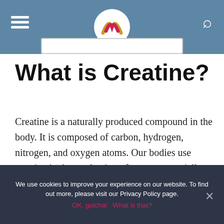Livestrong website header with logo, hamburger menu, and search icon
What is Creatine?
Creatine is a naturally produced compound in the body. It is composed of carbon, hydrogen, nitrogen, and oxygen atoms. Our bodies use creatine in the production of energy, especially when we perform any activity that uses quick bursts of strength or speed.
We use cookies to improve your experience on our website. To find out more, please visit our Privacy Policy page. OK, gotcha!  What is that?